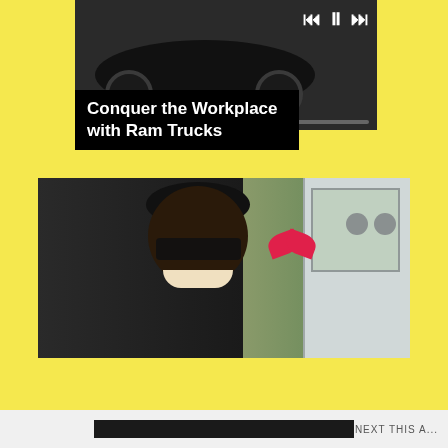[Figure (screenshot): Top portion of a video/media player showing a dark truck/car silhouette with playback controls (skip back, pause, skip forward) and a progress bar]
Conquer the Workplace with Ram Trucks
[Figure (photo): Photo of a smiling man wearing a black cap and dark sunglasses with a young child wearing a pink bow, taken near a white vehicle/RV with a green outdoor background]
Privacy & Cookies: This site uses cookies. By continuing to use this website, you agree to their use.
To find out more, including how to control cookies, see here:
Cookie Policy
Close and accept